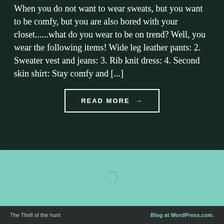When you do not want to wear sweats, but you want to be comfy, but you are also bored with your closet......what do you wear to be on trend? Well, you wear the following items! Wide leg leather pants: 2. Sweater vest and jeans: 3. Rib knit dress: 4. Second skin shirt: Stay comfy and [...]
READ MORE →
[Figure (other): Loading spinner icon on teal/mint green background]
The Thrill of the hunt    Blog at WordPress.com.